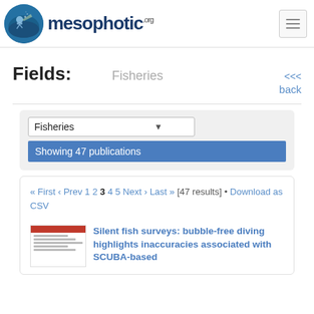[Figure (logo): mesophotic.org website logo with diver silhouette circle and text]
Fields: Fisheries
<<< back
Fisheries dropdown selector
Showing 47 publications
« First ‹ Prev 1 2 3 4 5 Next › Last » [47 results] • Download as CSV
Silent fish surveys: bubble-free diving highlights inaccuracies associated with SCUBA-based